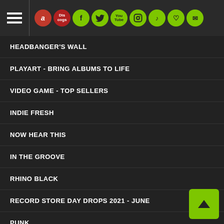Navigation header with hamburger menu and social icons: Amazon, Discogs, Facebook, Twitter, YouTube, Instagram, TikTok, Heart, Mail
HEADBANGER'S WALL
PLAYART - BRING ALBUMS TO LIFE
VIDEO GAME - TOP SELLERS
INDIE FRESH
NOW HEAR THIS
IN THE GROOVE
RHINO BLACK
RECORD STORE DAY DROPS 2021 - JUNE
PUNK
ELTON JOHN: REMASTERED VINYL SERIES